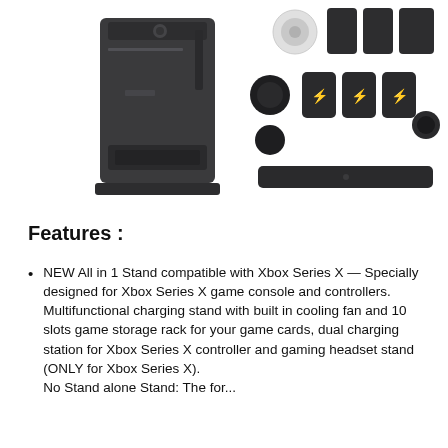[Figure (photo): Product photo showing Xbox Series X gaming stand on the left and accessories/components (controller mounts, USB caps, charging connectors, game card rack bar) laid out on the right against a white background.]
Features :
NEW All in 1 Stand compatible with Xbox Series X — Specially designed for Xbox Series X game console and controllers. Multifunctional charging stand with built in cooling fan and 10 slots game storage rack for your game cards, dual charging station for Xbox Series X controller and gaming headset stand (ONLY for Xbox Series X).
No Stand alone Stand: The features all...